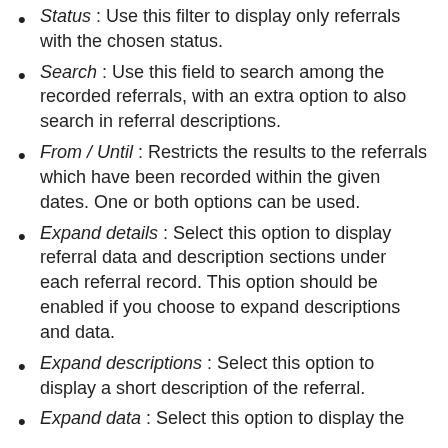Status : Use this filter to display only referrals with the chosen status.
Search : Use this field to search among the recorded referrals, with an extra option to also search in referral descriptions.
From / Until : Restricts the results to the referrals which have been recorded within the given dates. One or both options can be used.
Expand details : Select this option to display referral data and description sections under each referral record. This option should be enabled if you choose to expand descriptions and data.
Expand descriptions : Select this option to display a short description of the referral.
Expand data : Select this option to display the